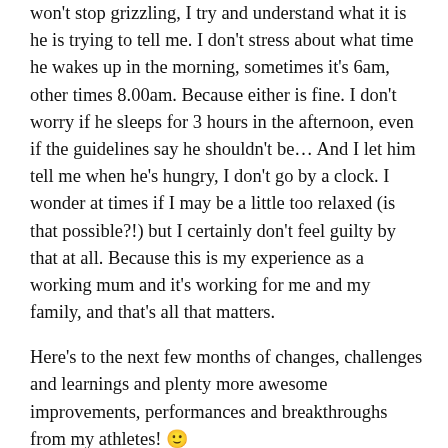won't stop grizzling, I try and understand what it is he is trying to tell me. I don't stress about what time he wakes up in the morning, sometimes it's 6am, other times 8.00am. Because either is fine. I don't worry if he sleeps for 3 hours in the afternoon, even if the guidelines say he shouldn't be… And I let him tell me when he's hungry, I don't go by a clock. I wonder at times if I may be a little too relaxed (is that possible?!) but I certainly don't feel guilty by that at all. Because this is my experience as a working mum and it's working for me and my family, and that's all that matters.
Here's to the next few months of changes, challenges and learnings and plenty more awesome improvements, performances and breakthroughs from my athletes! 🙂
Coach Sarah